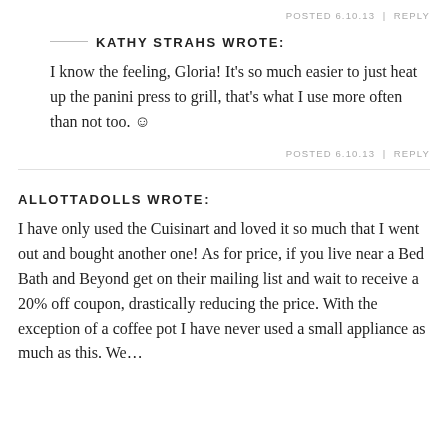POSTED 6.10.13 | REPLY
KATHY STRAHS WROTE:
I know the feeling, Gloria! It's so much easier to just heat up the panini press to grill, that's what I use more often than not too. 🙂
POSTED 6.10.13 | REPLY
ALLOTTADOLLS WROTE:
I have only used the Cuisinart and loved it so much that I went out and bought another one! As for price, if you live near a Bed Bath and Beyond get on their mailing list and wait to receive a 20% off coupon, drastically reducing the price. With the exception of a coffee pot I have never used a small appliance as much as this. We…